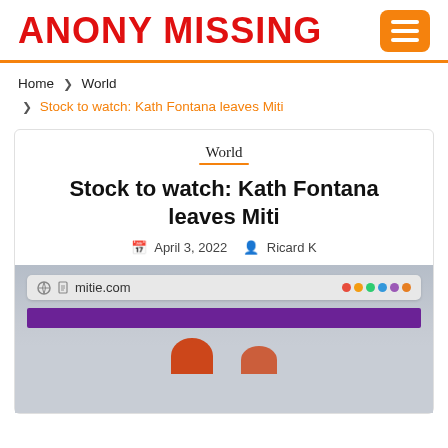ANONY MISSING
Home » World » Stock to watch: Kath Fontana leaves Miti
World
Stock to watch: Kath Fontana leaves Miti
April 3, 2022  Ricard K
[Figure (screenshot): Screenshot of a browser showing mitie.com in the address bar, with a purple navigation bar below and partial figure imagery at the bottom.]